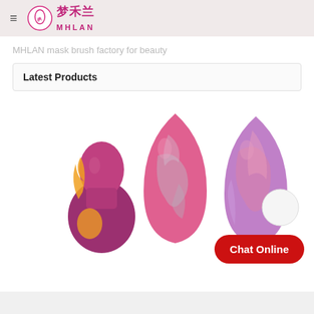梦禾兰 MHLAN
MHLAN mask brush factory for beauty
Latest Products
[Figure (photo): Three makeup sponges/blenders displayed: left is a gourd-shaped pink/purple sponge with orange swirl design, center is a teardrop-shaped pink sponge with silver/gray marble pattern, right is a teardrop-shaped purple/pink sponge with swirl design. A white circle and 'Chat Online' red button appear to the right.]
Chat Online